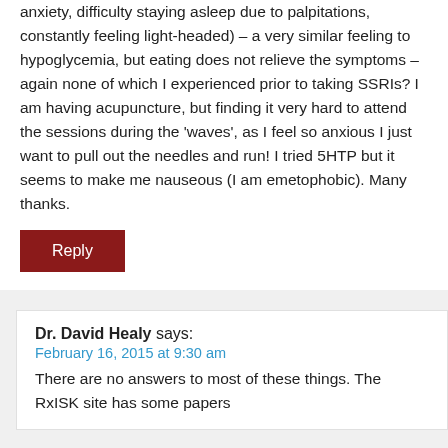anxiety, difficulty staying asleep due to palpitations, constantly feeling light-headed) – a very similar feeling to hypoglycemia, but eating does not relieve the symptoms – again none of which I experienced prior to taking SSRIs? I am having acupuncture, but finding it very hard to attend the sessions during the 'waves', as I feel so anxious I just want to pull out the needles and run! I tried 5HTP but it seems to make me nauseous (I am emetophobic). Many thanks.
Reply
Dr. David Healy says:
February 16, 2015 at 9:30 am
There are no answers to most of these things. The RxISK site has some papers